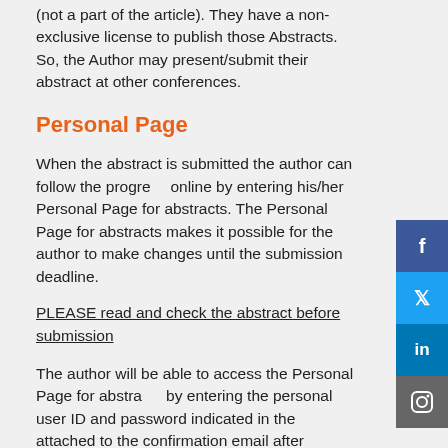(not a part of the article). They have a non-exclusive license to publish those Abstracts. So, the Author may present/submit their abstract at other conferences.
Personal Page
When the abstract is submitted the author can follow the progress online by entering his/her Personal Page for abstracts. The Personal Page for abstracts makes it possible for the author to make changes until the submission deadline.
PLEASE read and check the abstract before submission
The author will be able to access the Personal Page for abstracts by entering the personal user ID and password indicated in the attached to the confirmation email after submission before the abstract submission deadline. After this date it is not possible to access the Personal Page.
Publication
The full programme with accepted abstract titles will be available on the congress website in June. The late breaking abstracts will be added to the programme in September.